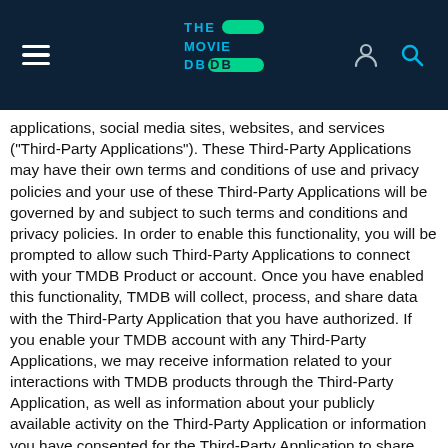The Movie DB — navigation header
applications, social media sites, websites, and services ("Third-Party Applications"). These Third-Party Applications may have their own terms and conditions of use and privacy policies and your use of these Third-Party Applications will be governed by and subject to such terms and conditions and privacy policies. In order to enable this functionality, you will be prompted to allow such Third-Party Applications to connect with your TMDB Product or account. Once you have enabled this functionality, TMDB will collect, process, and share data with the Third-Party Application that you have authorized. If you enable your TMDB account with any Third-Party Applications, we may receive information related to your interactions with TMDB products through the Third-Party Application, as well as information about your publicly available activity on the Third-Party Application or information you have consented for the Third-Party Application to share with TMDB. If you wish to stop the collection or sharing of information with the specific Third-Party Application you have authorized, you need to disable the feature or cancel your applicable subscription or manage your account for the Third-Party Application. TMDB does not endorse and is not responsible or liable for the behavior,